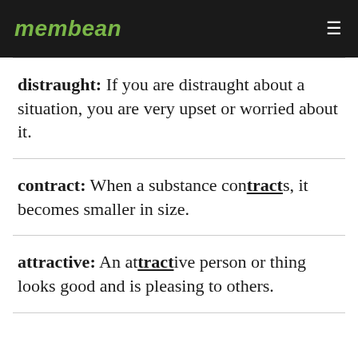membean
distraught: If you are distraught about a situation, you are very upset or worried about it.
contract: When a substance contracts, it becomes smaller in size.
attractive: An attractive person or thing looks good and is pleasing to others.